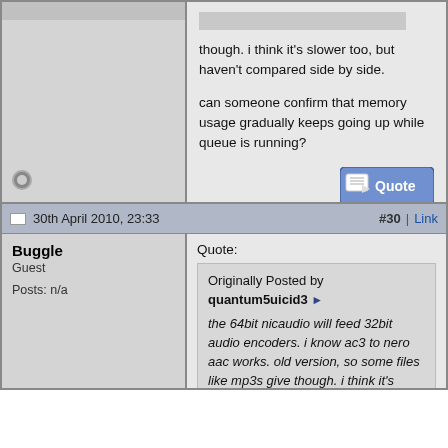though. i think it's slower too, but haven't compared side by side.

can someone confirm that memory usage gradually keeps going up while queue is running?
30th April 2010, 23:33  #30 | Link
Buggle
Guest
Posts: n/a
Quote:
Originally Posted by quantum5uicid3
the 64bit nicaudio will feed 32bit audio encoders. i know ac3 to nero aac works. old version, so some files like mp3s give though. i think it's slower too, but haven't compared side by side.

can someone confirm that memory usage gradually keeps going up while queue is running?